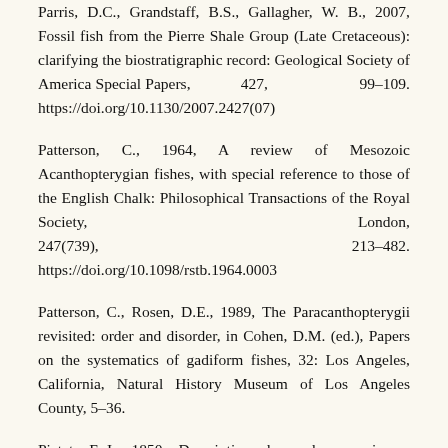Parris, D.C., Grandstaff, B.S., Gallagher, W. B., 2007, Fossil fish from the Pierre Shale Group (Late Cretaceous): clarifying the biostratigraphic record: Geological Society of America Special Papers, 427, 99–109. https://doi.org/10.1130/2007.2427(07)
Patterson, C., 1964, A review of Mesozoic Acanthopterygian fishes, with special reference to those of the English Chalk: Philosophical Transactions of the Royal Society, London, 247(739), 213–482. https://doi.org/10.1098/rstb.1964.0003
Patterson, C., Rosen, D.E., 1989, The Paracanthopterygii revisited: order and disorder, in Cohen, D.M. (ed.), Papers on the systematics of gadiform fishes, 32: Los Angeles, California, Natural History Museum of Los Angeles County, 5–36.
Pictet, F.-J., 1850, Description de quelques poissons fossiles du Mont Liban: Genève, Jules-